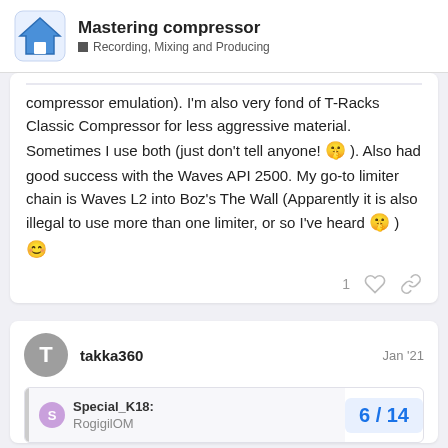Mastering compressor — Recording, Mixing and Producing
compressor emulation). I'm also very fond of T-Racks Classic Compressor for less aggressive material. Sometimes I use both (just don't tell anyone! 🤫 ). Also had good success with the Waves API 2500. My go-to limiter chain is Waves L2 into Boz's The Wall (Apparently it is also illegal to use more than one limiter, or so I've heard 🤫 ) 😊
takka360  Jan '21
Special_K18:
6 / 14